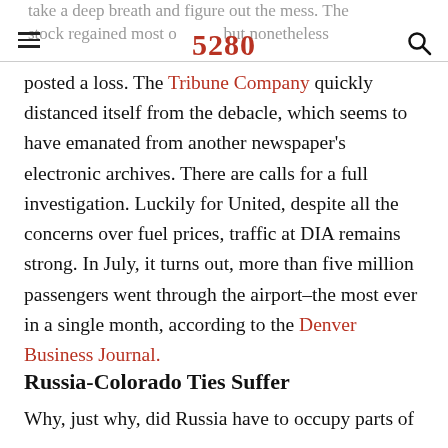take a deep breath and figure out the mess. The stock regained most of its value but nonetheless | 5280 [logo]
posted a loss. The Tribune Company quickly distanced itself from the debacle, which seems to have emanated from another newspaper's electronic archives. There are calls for a full investigation. Luckily for United, despite all the concerns over fuel prices, traffic at DIA remains strong. In July, it turns out, more than five million passengers went through the airport–the most ever in a single month, according to the Denver Business Journal.
Russia-Colorado Ties Suffer
Why, just why, did Russia have to occupy parts of